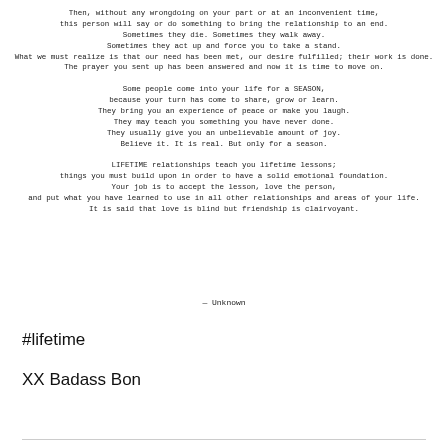Then, without any wrongdoing on your part or at an inconvenient time,
this person will say or do something to bring the relationship to an end.
Sometimes they die. Sometimes they walk away.
Sometimes they act up and force you to take a stand.
What we must realize is that our need has been met, our desire fulfilled; their work is done.
The prayer you sent up has been answered and now it is time to move on.

Some people come into your life for a SEASON,
because your turn has come to share, grow or learn.
They bring you an experience of peace or make you laugh.
They may teach you something you have never done.
They usually give you an unbelievable amount of joy.
Believe it. It is real. But only for a season.

LIFETIME relationships teach you lifetime lessons;
things you must build upon in order to have a solid emotional foundation.
Your job is to accept the lesson, love the person,
and put what you have learned to use in all other relationships and areas of your life.
It is said that love is blind but friendship is clairvoyant.
— Unknown
#lifetime
XX Badass Bon